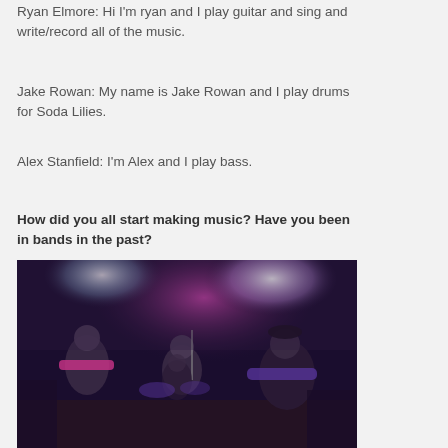Ryan Elmore: Hi I'm ryan and I play guitar and sing and write/record all of the music.
Jake Rowan: My name is Jake Rowan and I play drums for Soda Lilies.
Alex Stanfield: I'm Alex and I play bass.
How did you all start making music? Have you been in bands in the past?
[Figure (photo): Band performing on stage with purple/pink lighting, three musicians visible playing guitars with a drummer in the background]